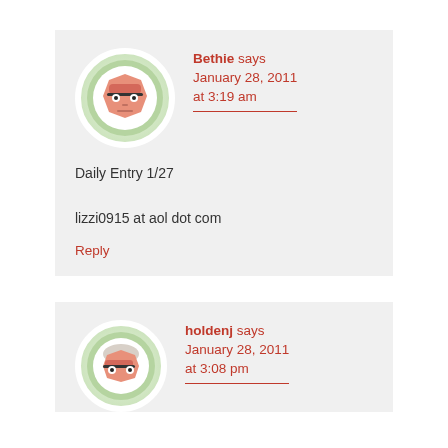[Figure (illustration): Cartoon avatar of a character with glasses and an octagonal face shape on green circular background]
Bethie says January 28, 2011 at 3:19 am
Daily Entry 1/27

lizzi0915 at aol dot com
Reply
[Figure (illustration): Cartoon avatar of a character with glasses and hair on green circular background]
holdenj says January 28, 2011 at 3:08 pm